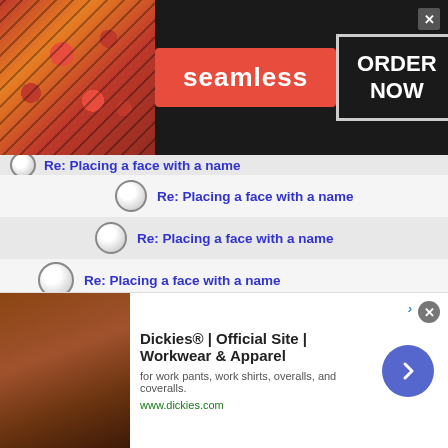[Figure (screenshot): Top advertisement banner for Seamless food ordering with pizza image on left, red Seamless logo in center, ORDER NOW button on right, close X button]
Re: Placing a face with a name
Re: Placing a face with a name
Re: Placing a face with a name
Re: Placing a face with a name
Re: Placing a face with a name
Re: Placing a face with a name
Re: Placing a face with a name
Re: Placing a face with a name
Re: Placing a face with a name
[Figure (screenshot): Bottom advertisement banner for Dickies workwear showing leather furniture image on left, ad text in center, blue arrow button on right, close X button]